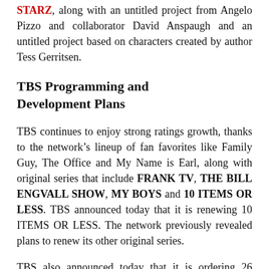STARZ, along with an untitled project from Angelo Pizzo and collaborator David Anspaugh and an untitled project based on characters created by author Tess Gerritsen.
TBS Programming and Development Plans
TBS continues to enjoy strong ratings growth, thanks to the network’s lineup of fan favorites like Family Guy, The Office and My Name is Earl, along with original series that include FRANK TV, THE BILL ENGVALL SHOW, MY BOYS and 10 ITEMS OR LESS. TBS announced today that it is renewing 10 ITEMS OR LESS. The network previously revealed plans to renew its other original series.
TBS also announced today that it is ordering 26 additional episodes of Tyler Perry’s HOUSE OF PAYNE. The series comes to TBS from Debmar-Mercury and was created by Perry, who directs every episode. TBS initially ordered 100 episodes of HOUSE OF PAYNE, which